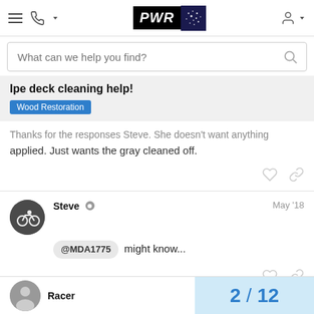PWR - Navigation header with search bar
Ipe deck cleaning help!
Wood Restoration
Thanks for the responses Steve. She doesn't want anything applied. Just wants the gray cleaned off.
Steve  May '18
@MDA1775 might know...
Racer  2 / 12